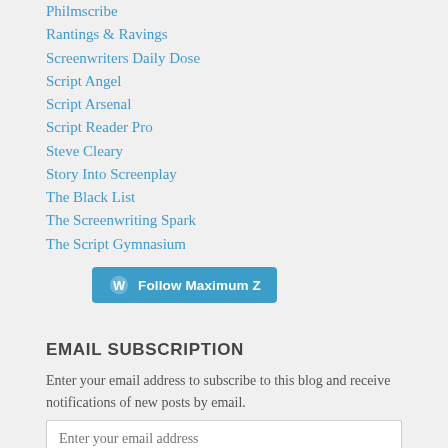Philmscribe
Rantings & Ravings
Screenwriters Daily Dose
Script Angel
Script Arsenal
Script Reader Pro
Steve Cleary
Story Into Screenplay
The Black List
The Screenwriting Spark
The Script Gymnasium
[Figure (other): Follow Maximum Z button with WordPress logo icon]
EMAIL SUBSCRIPTION
Enter your email address to subscribe to this blog and receive notifications of new posts by email.